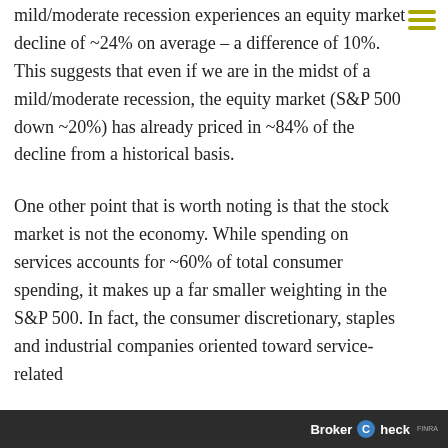mild/moderate recession experiences an equity market decline of ~24% on average – a difference of 10%. This suggests that even if we are in the midst of a mild/moderate recession, the equity market (S&P 500 down ~20%) has already priced in ~84% of the decline from a historical basis.
One other point that is worth noting is that the stock market is not the economy. While spending on services accounts for ~60% of total consumer spending, it makes up a far smaller weighting in the S&P 500. In fact, the consumer discretionary, staples and industrial companies oriented toward service-related
BrokerCheck